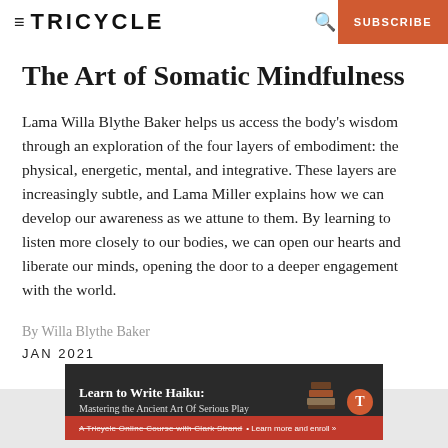TRICYCLE  SUBSCRIBE
The Art of Somatic Mindfulness
Lama Willa Blythe Baker helps us access the body's wisdom through an exploration of the four layers of embodiment: the physical, energetic, mental, and integrative. These layers are increasingly subtle, and Lama Miller explains how we can develop our awareness as we attune to them. By learning to listen more closely to our bodies, we can open our hearts and liberate our minds, opening the door to a deeper engagement with the world.
By Willa Blythe Baker
JAN 2021
[Figure (infographic): Advertisement banner: Learn to Write Haiku: Mastering the Ancient Art Of Serious Play. A Tricycle Online Course with Clark Strand. Learn more and enroll.]